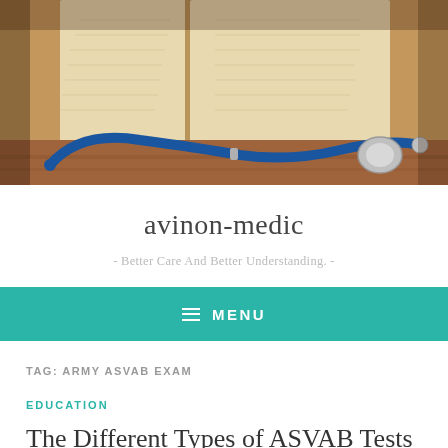[Figure (photo): Open book with fanned pages and a blue stethoscope placed in front of it on a wooden surface]
avinon-medic
- Better Care And Better Understanding. -
≡ MENU
TAG: ARMY ASVAB EXAM
EDUCATION
The Different Types of ASVAB Tests